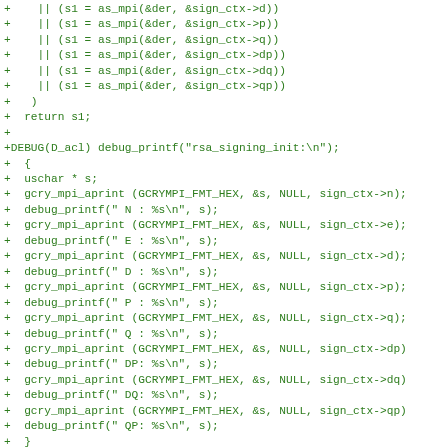[Figure (other): Source code diff showing C code additions for RSA signing context MPI checks and debug printf statements]